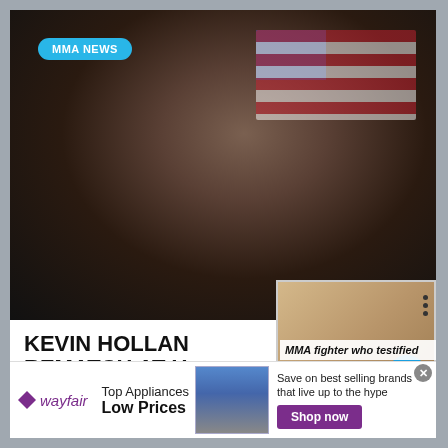[Figure (photo): MMA fighter close-up portrait photo with American flag in background]
MMA NEWS
KEVIN HOLLAND REMATCH AT U...
BY MIKE PENDLETON
While it appeared that... would quickly turn...
[Figure (photo): Black and white portrait photo of a man, overlaid on main image]
[Figure (photo): Man in white shirt and blue striped tie in a room with wood paneling, with blue arrow button overlay]
MMA fighter who testified
[Figure (infographic): Wayfair advertisement banner: Top Appliances Low Prices, Save on best selling brands that live up to the hype, Shop now]